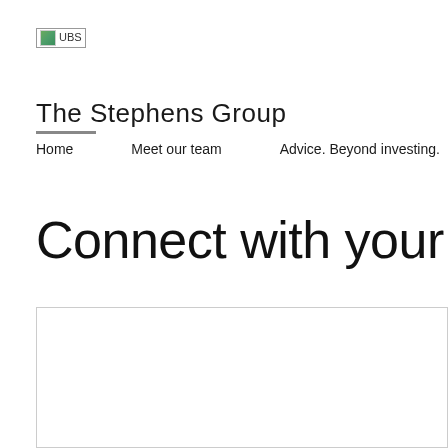[Figure (logo): UBS logo placeholder image with broken image icon]
The Stephens Group
Home   Meet our team   Advice. Beyond investing.
Connect with your Priva